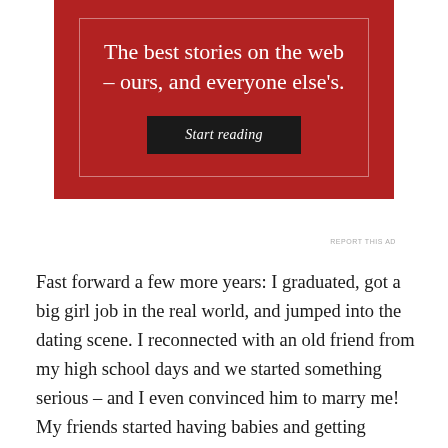[Figure (other): Red advertisement banner with white text reading 'The best stories on the web – ours, and everyone else's.' and a dark 'Start reading' button, bordered by a thin white rectangle outline.]
REPORT THIS AD
Fast forward a few more years: I graduated, got a big girl job in the real world, and jumped into the dating scene. I reconnected with an old friend from my high school days and we started something serious – and I even convinced him to marry me! My friends started having babies and getting married. Throughout it all, I continued to lose weight and shape my new life along with my new body.